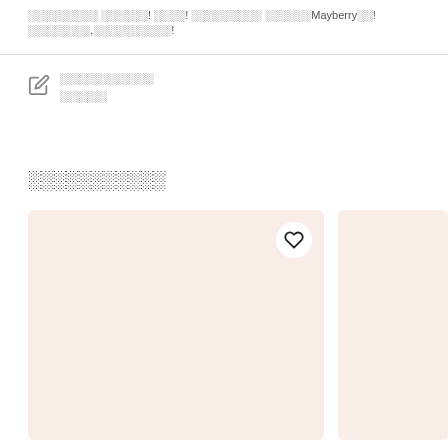░░░░░░░░░ ░░░░░░! ░░░░! ░░░░░░░░░ ░░░░░░Mayberry░░! ░░░░░░░░,░░░░░░░░░░!
░░░░░░░░░░░░ ░░░░░░
░░░░░░░░░░░
[Figure (other): Product card with heart/favorite icon and pinkish background placeholder image]
[Figure (other): Product card with pinkish background placeholder image, partially visible]